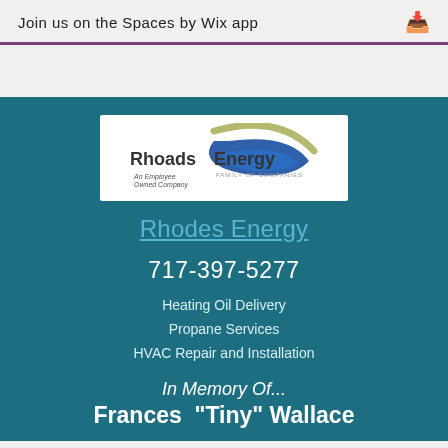Join us on the Spaces by Wix app
[Figure (logo): Rhoads Energy Family of Companies logo - blue swoosh and olive arc with company name and 'An Employee Owned Company' tagline]
Rhodes Energy
717-397-5277
Heating Oil Delivery
Propane Services
HVAC Repair and Installation
In Memory Of...
Frances  "Tiny" Wallace